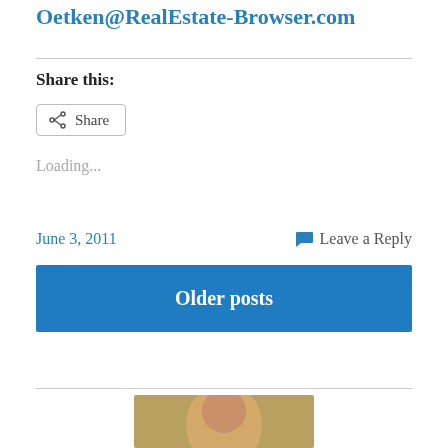Oetken@RealEstate-Browser.com
Share this:
[Figure (screenshot): Share button with share icon]
Loading...
June 3, 2011
Leave a Reply
[Figure (screenshot): Older posts button (blue)]
[Figure (photo): Portrait photo of a person, partially visible at bottom]